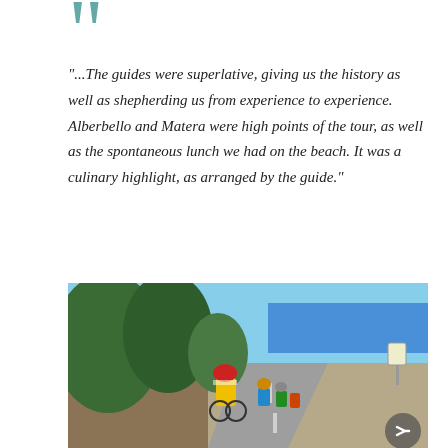[Figure (illustration): Large teal/dark cyan decorative closing quotation marks at top left of the quote block]
"...The guides were superlative, giving us the history as well as shepherding us from experience to experience. Alberbello and Matera were high points of the tour, as well as the spontaneous lunch we had on the beach. It was a culinary highlight, as arranged by the guide."
Wayne - Calgary, Alberta
[Figure (photo): A group of cyclists riding along a road in a sunny Mediterranean landscape. The lead cyclist wears a yellow jersey and red/white helmet. Trees and stone walls line the left side; blue sea is visible in the background. A circular navigation arrow is overlaid at the bottom right.]